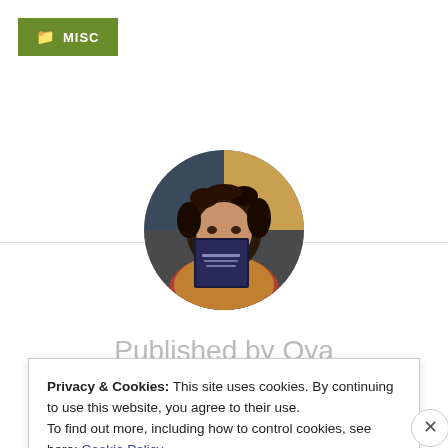MISC
[Figure (photo): Circular avatar photo of a person holding a book in front of their face, with curly dark hair, at what appears to be an event or fair]
Published by Oya
Privacy & Cookies: This site uses cookies. By continuing to use this website, you agree to their use.
To find out more, including how to control cookies, see here: Cookie Policy
Close and accept